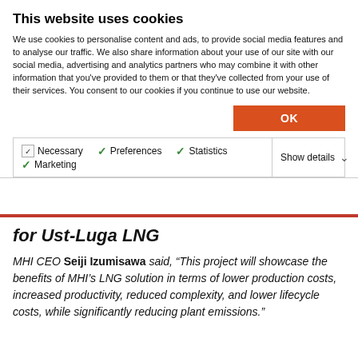This website uses cookies
We use cookies to personalise content and ads, to provide social media features and to analyse our traffic. We also share information about your use of our site with our social media, advertising and analytics partners who may combine it with other information that you've provided to them or that they've collected from your use of their services. You consent to our cookies if you continue to use our website.
OK
Necessary  Preferences  Statistics  Marketing  Show details
for Ust-Luga LNG
MHI CEO Seiji Izumisawa said, “This project will showcase the benefits of MHI’s LNG solution in terms of lower production costs, increased productivity, reduced complexity, and lower lifecycle costs, while significantly reducing plant emissions.”